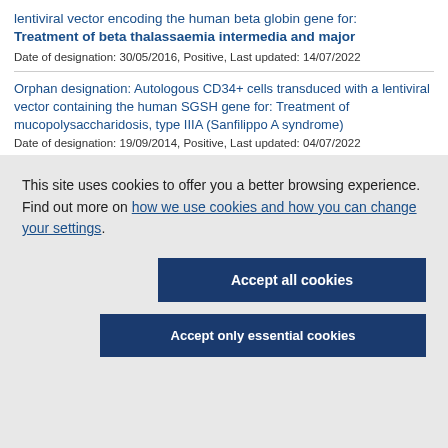lentiviral vector encoding the human beta globin gene for: Treatment of beta thalassaemia intermedia and major
Date of designation: 30/05/2016, Positive, Last updated: 14/07/2022
Orphan designation: Autologous CD34+ cells transduced with a lentiviral vector containing the human SGSH gene for: Treatment of mucopolysaccharidosis, type IIIA (Sanfilippo A syndrome)
Date of designation: 19/09/2014, Positive, Last updated: 04/07/2022
This site uses cookies to offer you a better browsing experience. Find out more on how we use cookies and how you can change your settings.